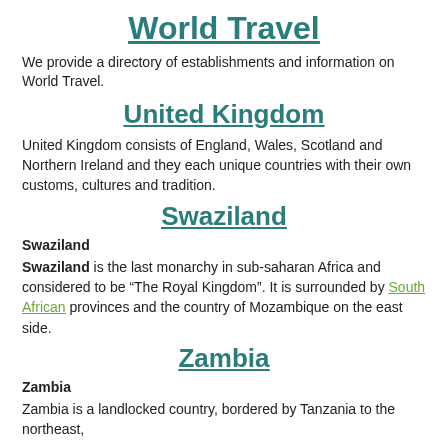World Travel
We provide a directory of establishments and information on World Travel.
United Kingdom
United Kingdom consists of England, Wales, Scotland and Northern Ireland and they each unique countries with their own customs, cultures and tradition.
Swaziland
Swaziland
Swaziland is the last monarchy in sub-saharan Africa and considered to be “The Royal Kingdom”. It is surrounded by South African provinces and the country of Mozambique on the east side.
Zambia
Zambia
Zambia is a landlocked country, bordered by Tanzania to the northeast,